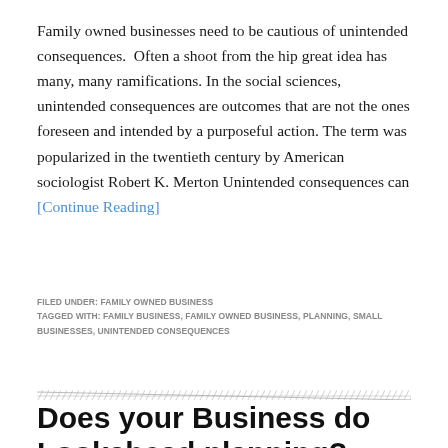Family owned businesses need to be cautious of unintended consequences.  Often a shoot from the hip great idea has many, many ramifications. In the social sciences, unintended consequences are outcomes that are not the ones foreseen and intended by a purposeful action. The term was popularized in the twentieth century by American sociologist Robert K. Merton Unintended consequences can [Continue Reading]
FILED UNDER: FAMILY OWNED BUSINESS
TAGGED WITH: FAMILY BUSINESS, FAMILY OWNED BUSINESS, PLANNING, SMALL BUSINESSES, UNINTENDED CONSEQUENCES
Does your Business do Lookahead planning?